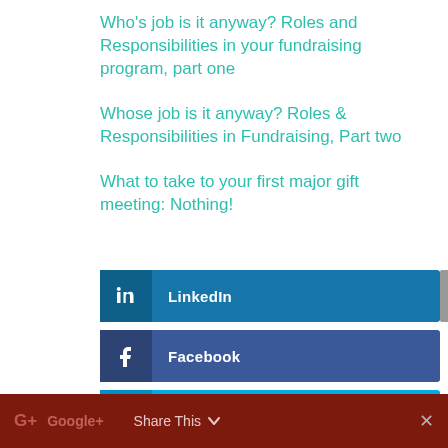Who’s job is it anyway? Roles and Responsibilities in your fundraising program, part one
Whose job is it anyway? Roles & Responsibilities in Fundraising, Part two
What to take to your first major gift meeting: Nothing!
[Figure (infographic): Social share buttons: LinkedIn (blue), Facebook (dark blue), Twitter (light blue), and a Google+ share bar at the bottom with a close button]
G+  Google+  Share This  ∨  ×